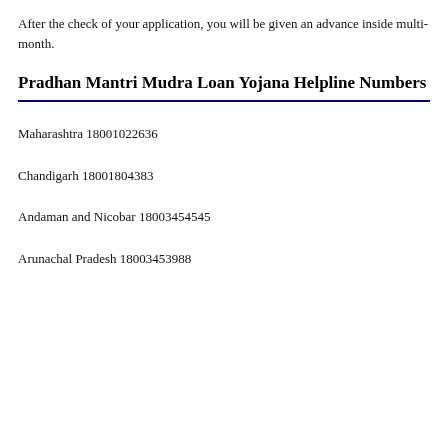After the check of your application, you will be given an advance inside multi-month.
Pradhan Mantri Mudra Loan Yojana Helpline Numbers
Maharashtra 18001022636
Chandigarh 18001804383
Andaman and Nicobar 18003454545
Arunachal Pradesh 18003453988